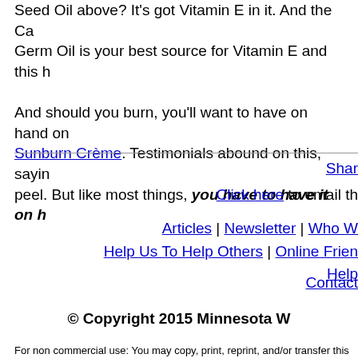Seed Oil above? It's got Vitamin E in it. And the Carn... Germ Oil is your best source for Vitamin E and this h...
And should you burn, you'll want to have on hand on... Sunburn Crème. Testimonials abound on this, saying... peel. But like most things, you have to have it on h...
Shar...
Click here to email thi...
Articles | Newsletter | Who W... Help Us To Help Others | Online Frien... Help...
Contact...
© Copyright 2015 Minnesota W...
For non commercial use: You may copy, print, reprint, and/or transfer this entire a... notice attached and all the links work proper...
David's PhotoArt - Fine Art Supporting ...